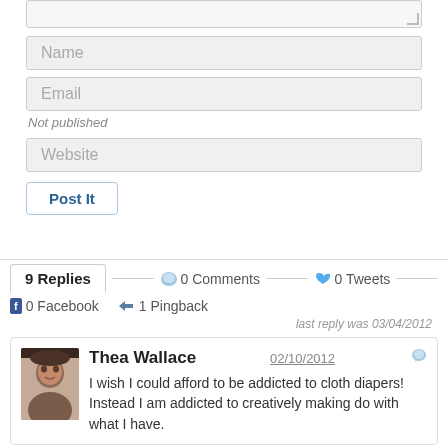[Figure (screenshot): Comment form with textarea, Name field, Email field, 'Not published' note, Website field, and Post It button]
9 Replies — 0 Comments — 0 Tweets
0 Facebook   1 Pingback
last reply was 03/04/2012
Thea Wallace  02/10/2012  I wish I could afford to be addicted to cloth diapers! Instead I am addicted to creatively making do with what I have.